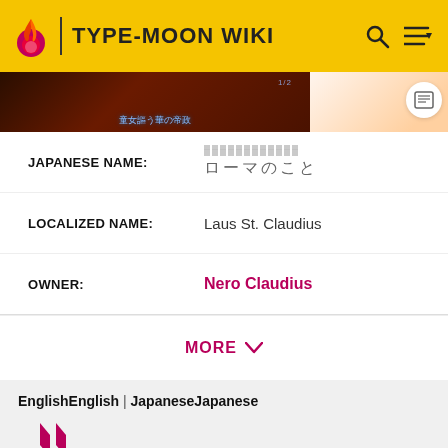TYPE-MOON WIKI
[Figure (screenshot): Dark background game screenshot with Japanese text overlay reading approximately '童女謳う華の帝政']
| JAPANESE NAME: | ローマのこと |
| LOCALIZED NAME: | Laus St. Claudius |
| OWNER: | Nero Claudius |
MORE ∨
EnglishEnglish | JapaneseJapanese
Open the gate! The curtain to the solo stage draws!"